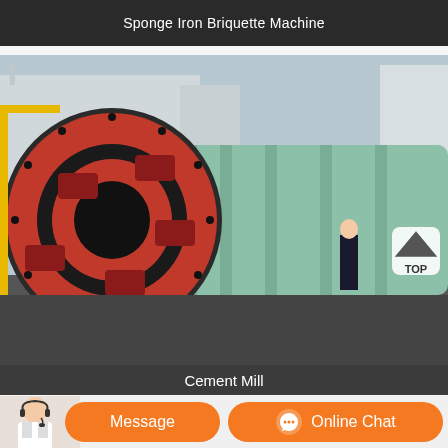Sponge Iron Briquette Machine
[Figure (photo): Large industrial cement mill (ball mill) mounted on a heavy transport truck. The machine has a prominent dark and red circular end face with a green cylindrical body. A person stands next to it for scale. Industrial factory buildings are visible in the background.]
Cement Mill
[Figure (photo): Customer service representative with headset; Message and Online Chat buttons on orange banner.]
Message
Online Chat